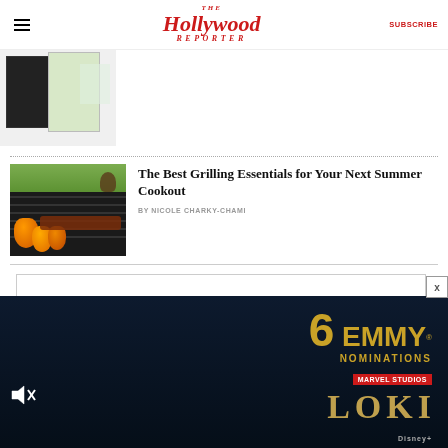The Hollywood Reporter | SUBSCRIBE
[Figure (photo): Cropped top of article thumbnail showing product images on light background]
The Best Grilling Essentials for Your Next Summer Cookout
BY NICOLE CHARKY-CHAMI
[Figure (photo): Photo of peppers and meat on a grill outdoors]
[Figure (screenshot): Advertisement for Loki on Disney+ with text '6 EMMY NOMINATIONS' and Marvel Studios branding]